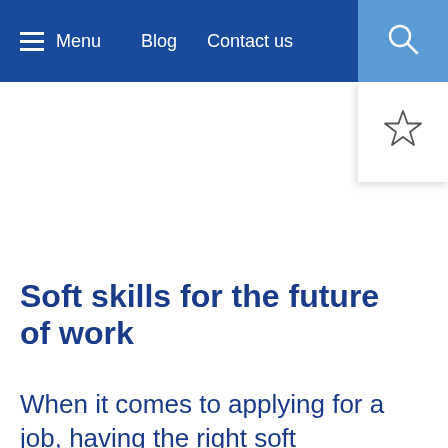Menu   Blog   Contact us
Soft skills for the future of work
When it comes to applying for a job, having the right soft